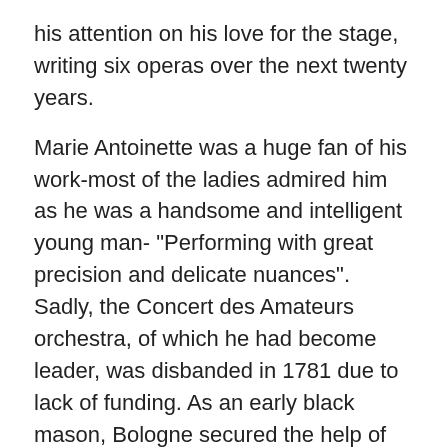his attention on his love for the stage, writing six operas over the next twenty years.
Marie Antoinette was a huge fan of his work-most of the ladies admired him as he was a handsome and intelligent young man- "Performing with great precision and delicate nuances". Sadly, the Concert des Amateurs orchestra, of which he had become leader, was disbanded in 1781 due to lack of funding. As an early black mason, Bologne secured the help of Phillipe D'Orleans who grouped it with a mason Loge. Now named Le Concert Olympique, the orchestra were performing at huge venues such as the Palais Royale and the Salles des Gardes-Suisses. It was Bologne who conducted Haydn's six Paris